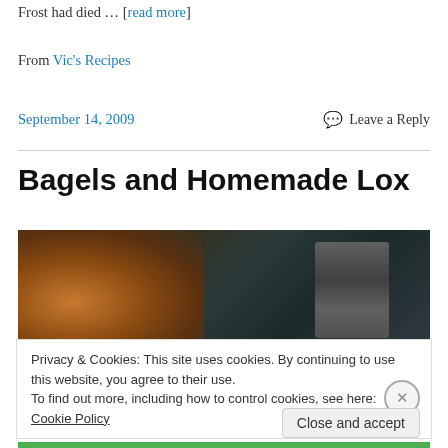Frost had died … [read more]
From Vic's Recipes
September 14, 2009  Leave a Reply
Bagels and Homemade Lox
[Figure (photo): Dark photograph showing a bagel on the left and a cylindrical container/thermos on the right against a dark background]
Privacy & Cookies: This site uses cookies. By continuing to use this website, you agree to their use.
To find out more, including how to control cookies, see here: Cookie Policy
Close and accept